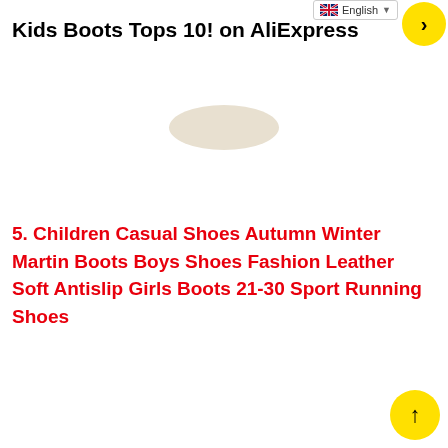Kids Boots Tops 10! on AliExpress
[Figure (photo): Partial view of the bottom/sole of a children's boot or shoe against a white background]
5. Children Casual Shoes Autumn Winter Martin Boots Boys Shoes Fashion Leather Soft Antislip Girls Boots 21-30 Sport Running Shoes